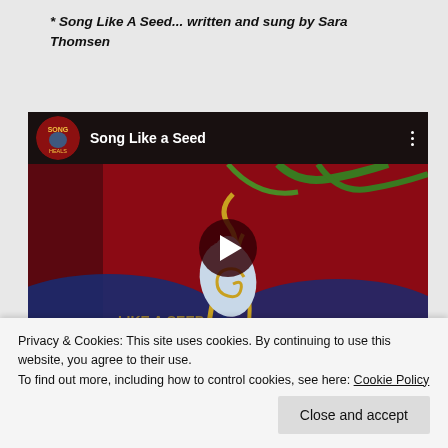* Song Like A Seed... written and sung by Sara Thomsen
[Figure (screenshot): Embedded YouTube video player showing 'Song Like a Seed' with a colorful painting of a bird on a red background as the thumbnail. The video has a dark top bar with a circular channel logo, the title 'Song Like a Seed', a three-dot menu icon, and a play button in the center.]
Privacy & Cookies: This site uses cookies. By continuing to use this website, you agree to their use.
To find out more, including how to control cookies, see here: Cookie Policy
Close and accept